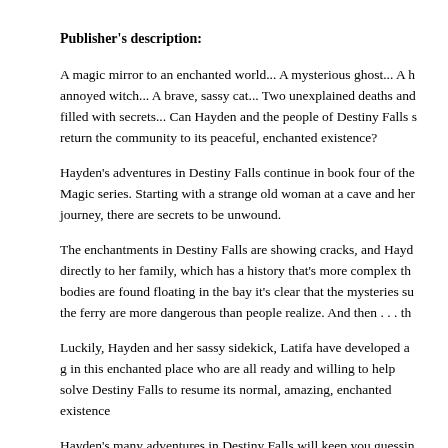Publisher's description:
A magic mirror to an enchanted world... A mysterious ghost... A h annoyed witch... A brave, sassy cat... Two unexplained deaths and filled with secrets... Can Hayden and the people of Destiny Falls s return the community to its peaceful, enchanted existence?
Hayden’s adventures in Destiny Falls continue in book four of the Magic series. Starting with a strange old woman at a cave and her journey, there are secrets to be unwound.
The enchantments in Destiny Falls are showing cracks, and Hayd directly to her family, which has a history that’s more complex th bodies are found floating in the bay it’s clear that the mysteries su the ferry are more dangerous than people realize. And then . . . th
Luckily, Hayden and her sassy sidekick, Latifa have developed a g in this enchanted place who are all ready and willing to help solve Destiny Falls to resume its normal, amazing, enchanted existence
Hayden’s many adventures in Destiny Falls will keep you guessin intriguing series.